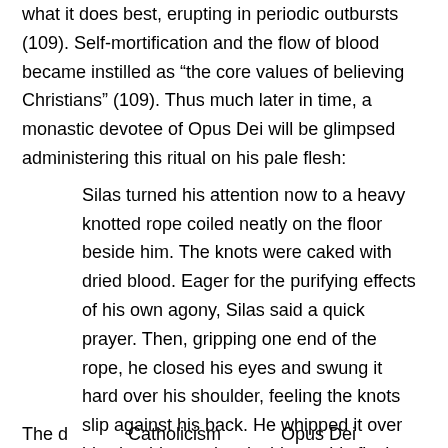what it does best, erupting in periodic outbursts (109). Self-mortification and the flow of blood became instilled as “the core values of believing Christians” (109). Thus much later in time, a monastic devotee of Opus Dei will be glimpsed administering this ritual on his pale flesh:
Silas turned his attention now to a heavy knotted rope coiled neatly on the floor beside him. The knots were caked with dried blood. Eager for the purifying effects of his own agony, Silas said a quick prayer. Then, gripping one end of the rope, he closed his eyes and swung it hard over his shoulder, feeling the knots slip against his back. He whipped it over his shoulder again, slashing at his flesh. Again and again, he lashed.
The dc Catholicism Opus Dei